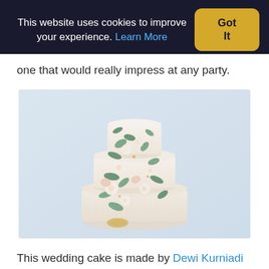This website uses cookies to improve your experience. Learn More | Got It
one that would really impress at any party.
[Figure (photo): A three-tiered white wedding cake decorated with hand-painted floral designs in soft greens, pinks, and gold, displayed against a light background.]
This wedding cake is made by Dewi Kurniadi from Sweet Bloom Cakes. She is based in Sydney and is